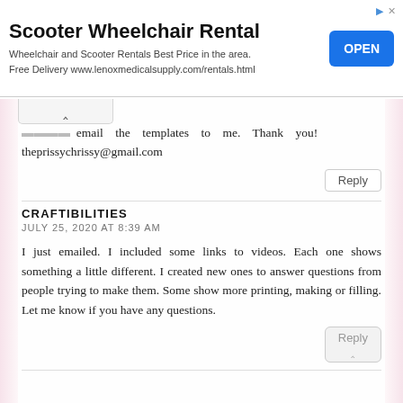[Figure (screenshot): Advertisement banner for Scooter Wheelchair Rental with OPEN button]
... email the templates to me. Thank you! theprissychrissy@gmail.com
Reply
CRAFTIBILITIES
JULY 25, 2020 AT 8:39 AM
I just emailed. I included some links to videos. Each one shows something a little different. I created new ones to answer questions from people trying to make them. Some show more printing, making or filling. Let me know if you have any questions.
Reply
JANE
JULY 25, 2020 AT 11:50 AM